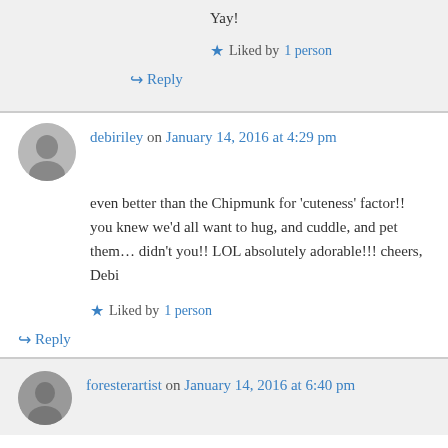Yay!
★ Liked by 1 person
↪ Reply
debiriley on January 14, 2016 at 4:29 pm
even better than the Chipmunk for 'cuteness' factor!! you knew we'd all want to hug, and cuddle, and pet them… didn't you!! LOL absolutely adorable!!! cheers, Debi
★ Liked by 1 person
↪ Reply
foresterartist on January 14, 2016 at 6:40 pm